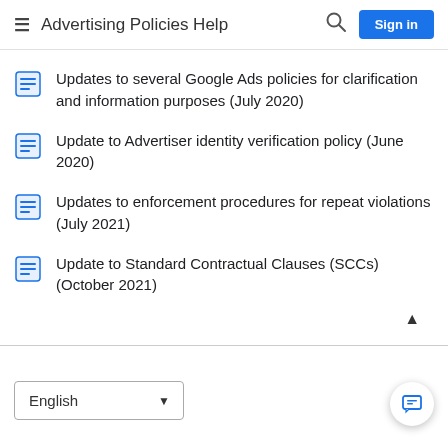Advertising Policies Help
Updates to several Google Ads policies for clarification and information purposes (July 2020)
Update to Advertiser identity verification policy (June 2020)
Updates to enforcement procedures for repeat violations (July 2021)
Update to Standard Contractual Clauses (SCCs) (October 2021)
English